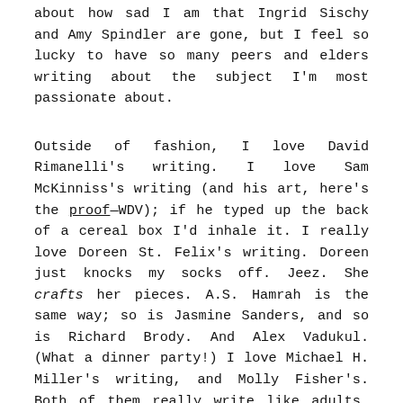about how sad I am that Ingrid Sischy and Amy Spindler are gone, but I feel so lucky to have so many peers and elders writing about the subject I'm most passionate about.
Outside of fashion, I love David Rimanelli's writing. I love Sam McKinniss's writing (and his art, here's the proof—WDV); if he typed up the back of a cereal box I'd inhale it. I really love Doreen St. Felix's writing. Doreen just knocks my socks off. Jeez. She crafts her pieces. A.S. Hamrah is the same way; so is Jasmine Sanders, and so is Richard Brody. And Alex Vadukul. (What a dinner party!) I love Michael H. Miller's writing, and Molly Fisher's. Both of them really write like adults, you know what I mean? Just clear and sophisticated.
I'm a choppy, quick writer. I report, I ask around, I observe, I go to stores and call up designers and stylists and stuff, and then I churn it out. And I like that. But of